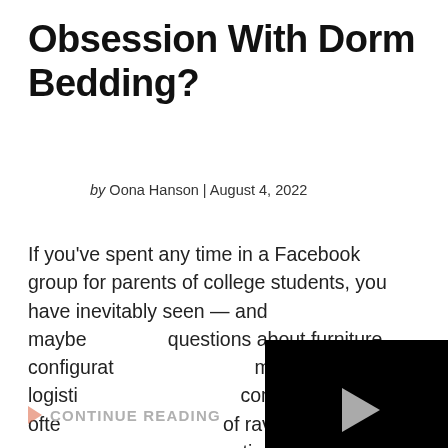Obsession With Dorm Bedding?
by Oona Hanson | August 4, 2022
If you’ve spent any time in a Facebook group for parents of college students, you have inevitably seen — and maybe posted — questions about furniture configuration, move-in day logistics, come up more often, of rave reviews, can questions. Nothing
[Figure (screenshot): Embedded video player with black background, play button in center, progress bar, mute icon, timestamp 01:15, grid icon, settings gear icon, and expand icon in controls bar.]
CONTINUE READING